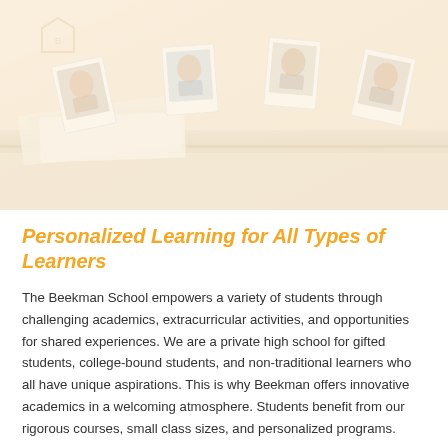[Figure (photo): A faded, warm-toned photo of student portrait photos arranged on a surface, resembling a school yearbook or bulletin board display.]
Personalized Learning for All Types of Learners
The Beekman School empowers a variety of students through challenging academics, extracurricular activities, and opportunities for shared experiences. We are a private high school for gifted students, college-bound students, and non-traditional learners who all have unique aspirations. This is why Beekman offers innovative academics in a welcoming atmosphere. Students benefit from our rigorous courses, small class sizes, and personalized programs.
Private High School for Gifted Students